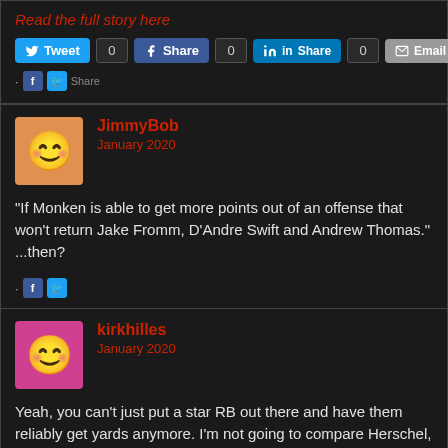Read the full story here
[Figure (screenshot): Social share buttons: Tweet (0), Share on Facebook (0), Share on LinkedIn (0), Email (0)]
[Figure (infographic): Small Facebook and Twitter icons row]
JimmyBob
January 2020
"If Monken is able to get more points out of an offense that won't return Jake Fromm, D'Andre Swift and Andrew Thomas." ...then?
[Figure (infographic): Small Facebook and Twitter icons row]
kirkhilles
January 2020
Yeah, you can't just put a star RB out there and have them reliably get yards anymore. I'm not going to compare Herschel, but there is ZERO doubt that we've had some of the best RBs out there and players like Chubb routinely got stopped when the defense was prepared for the run. It'd drive